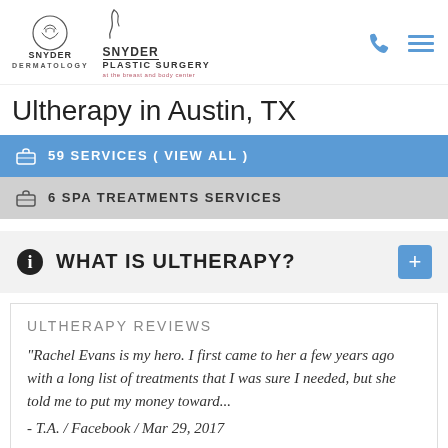[Figure (logo): Snyder Dermatology and Snyder Plastic Surgery logos with phone and menu icons]
Ultherapy in Austin, TX
59 SERVICES ( VIEW ALL )
6 SPA TREATMENTS SERVICES
WHAT IS ULTHERAPY?
ULTHERAPY REVIEWS
"Rachel Evans is my hero. I first came to her a few years ago with a long list of treatments that I was sure I needed, but she told me to put my money toward... - T.A. / Facebook / Mar 29, 2017